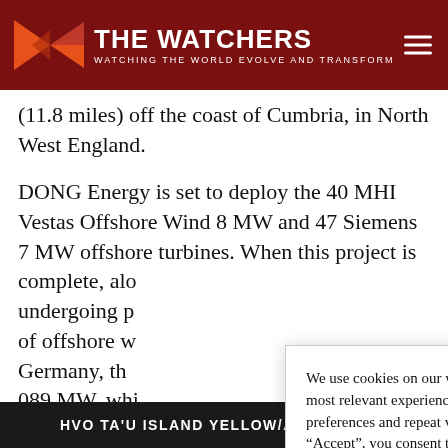THE WATCHERS — WATCHING THE WORLD EVOLVE AND TRANSFORM
(11.8 miles) off the coast of Cumbria, in North West England.
DONG Energy is set to deploy the 40 MHI Vestas Offshore Wind 8 MW and 47 Siemens 7 MW offshore turbines. When this project is complete, alo[ng with other projects] undergoing [construction, the total capacity] of offshore w[ind in the UK, Denmark, and] Germany, th[e combined total will exceed] 089 MW, whi[ch is enough to power the annual] consumption[of over X million] residents in [the UK].
We use cookies on our website to give you the most relevant experience by remembering your preferences and repeat visits. By clicking “Accept”, you consent to the use of ALL the cookies.
Do not sell my personal information.
Cookie settings   Accept
HVO TA'U ISLAND YELLOW/ADVISORY - PR